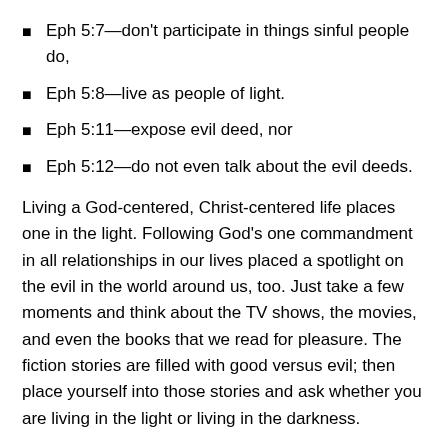Eph 5:7—don't participate in things sinful people do,
Eph 5:8—live as people of light.
Eph 5:11—expose evil deed, nor
Eph 5:12—do not even talk about the evil deeds.
Living a God-centered, Christ-centered life places one in the light. Following God's one commandment in all relationships in our lives placed a spotlight on the evil in the world around us, too. Just take a few moments and think about the TV shows, the movies, and even the books that we read for pleasure. The fiction stories are filled with good versus evil; then place yourself into those stories and ask whether you are living in the light or living in the darkness.
Step away from the fiction, now, and look at the news reports and all the social media feeds that we see crossing